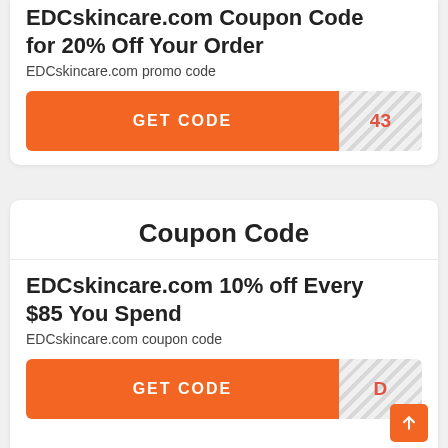EDCskincare.com Coupon Code for 20% Off Your Order
EDCskincare.com promo code
GET CODE | 43
Coupon Code
EDCskincare.com 10% off Every $85 You Spend
EDCskincare.com coupon code
GET CODE | D